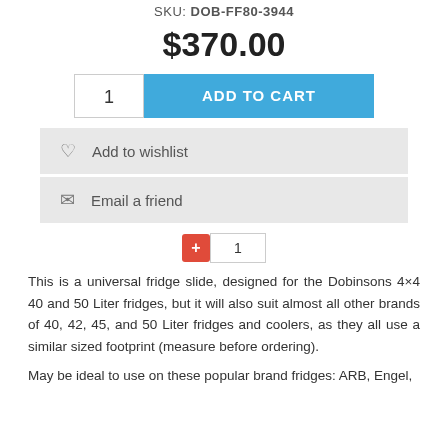SKU: DOB-FF80-3944
$370.00
1  ADD TO CART
♡ Add to wishlist
✉ Email a friend
+ 1
This is a universal fridge slide, designed for the Dobinsons 4×4 40 and 50 Liter fridges, but it will also suit almost all other brands of 40, 42, 45, and 50 Liter fridges and coolers, as they all use a similar sized footprint (measure before ordering).
May be ideal to use on these popular brand fridges: ARB, Engel,